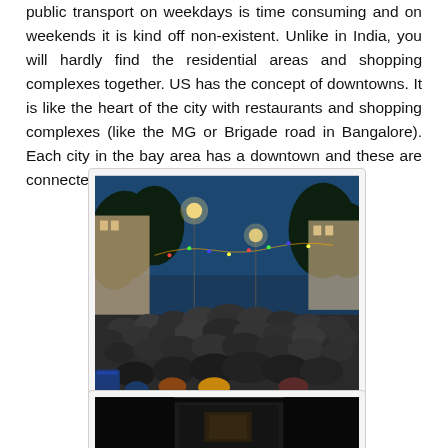public transport on weekdays is time consuming and on weekends it is kind off non-existent. Unlike in India, you will hardly find the residential areas and shopping complexes together. US has the concept of downtowns. It is like the heart of the city with restaurants and shopping complexes (like the MG or Brigade road in Bangalore). Each city in the bay area has a downtown and these are connected by CalTrain.
[Figure (photo): A crowded outdoor night scene showing a large group of people gathered in what appears to be a downtown street or plaza, with trees, street lights, and storefronts visible in the background under a blue evening sky.]
[Figure (photo): A dark nighttime photo, partially visible, showing what appears to be a building or structure.]